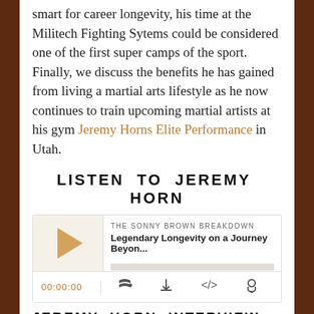smart for career longevity, his time at the Militech Fighting Sytems could be considered one of the first super camps of the sport. Finally, we discuss the benefits he has gained from living a martial arts lifestyle as he now continues to train upcoming martial artists at his gym Jeremy Horns Elite Performance in Utah.
LISTEN TO JEREMY HORN
[Figure (screenshot): Podcast player widget for 'The Sonny Brown Breakdown' episode 'Legendary Longevity on a Journey Beyon...' showing play button, progress bar, timestamp 00:00:00 and control icons]
JEREMY HORN INTERVIEW TRANSCRIPT
Sonny Brown: Jeremy, pleasure to have you here to have you...